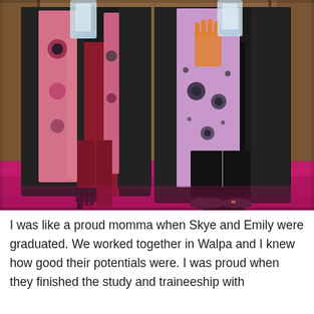[Figure (photo): Two people wearing black graduation gowns and colorful Indigenous-style painted sashes/stoles, standing indoors on a pink/magenta carpet against a wooden wall backdrop. Both are holding glass trophies/awards. One person wears red pants and black strappy heels; the other wears black wide-leg pants. The sashes feature hand-painted designs including an orange handprint, dots, and circular patterns.]
I was like a proud momma when Skye and Emily were graduated. We worked together in Walpa and I knew how good their potentials were. I was proud when they finished the study and traineeship with